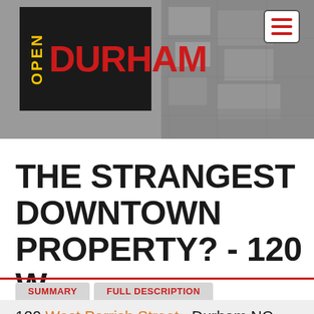[Figure (logo): Open Durham logo on dark background with aerial city photo banner and hamburger menu icon]
THE STRANGEST DOWNTOWN PROPERTY? - 120 W PARRISH
SUMMARY   FULL DESCRIPTION
120 West Parrish Street , Durham NC